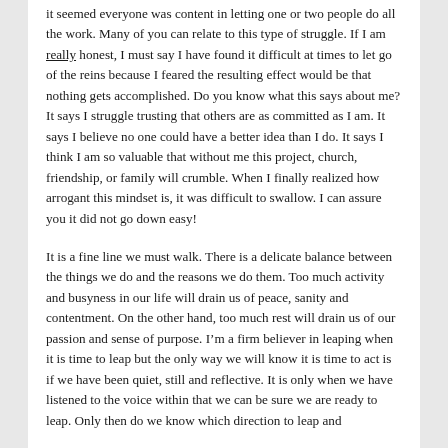it seemed everyone was content in letting one or two people do all the work. Many of you can relate to this type of struggle. If I am really honest, I must say I have found it difficult at times to let go of the reins because I feared the resulting effect would be that nothing gets accomplished. Do you know what this says about me? It says I struggle trusting that others are as committed as I am. It says I believe no one could have a better idea than I do. It says I think I am so valuable that without me this project, church, friendship, or family will crumble. When I finally realized how arrogant this mindset is, it was difficult to swallow. I can assure you it did not go down easy!
It is a fine line we must walk. There is a delicate balance between the things we do and the reasons we do them. Too much activity and busyness in our life will drain us of peace, sanity and contentment. On the other hand, too much rest will drain us of our passion and sense of purpose. I’m a firm believer in leaping when it is time to leap but the only way we will know it is time to act is if we have been quiet, still and reflective. It is only when we have listened to the voice within that we can be sure we are ready to leap. Only then do we know which direction to leap and